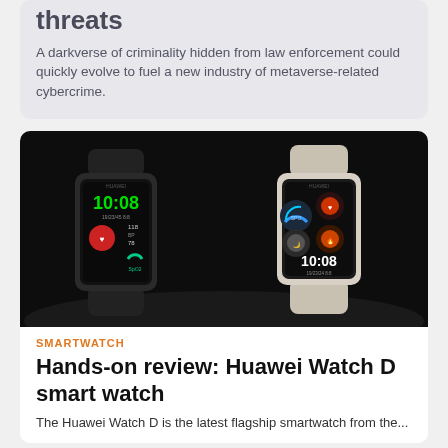threats
A darkverse of criminality hidden from law enforcement could quickly evolve to fuel a new industry of metaverse-related cybercrime.
[Figure (photo): Two Huawei Watch D smartwatches displayed against a dark background — one in black and one in silver/white, both showing 10:08 on their watch faces with health/fitness data]
SMARTWATCH
Hands-on review: Huawei Watch D smart watch
The Huawei Watch D is the latest flagship smartwatch from the...